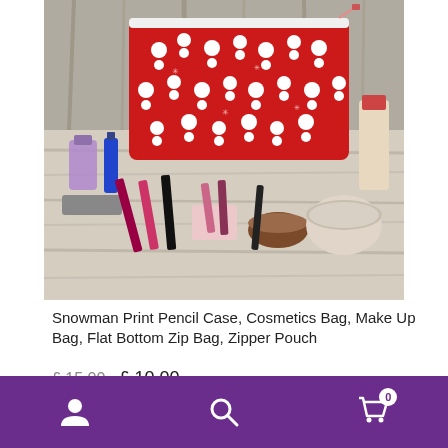[Figure (photo): A red cosmetics/makeup bag with snowman print pattern, shown on a rustic white wooden surface surrounded by various makeup items including lipstick, mascara, foundation, powder compact, and other cosmetics.]
Snowman Print Pencil Case, Cosmetics Bag, Make Up Bag, Flat Bottom Zip Bag, Zipper Pouch
£ 15.00   £ 10.00
Handmade By : Gert Lush Designs
[Figure (screenshot): Purple bottom navigation bar with user/profile icon, search icon, and shopping cart icon with badge showing 0]